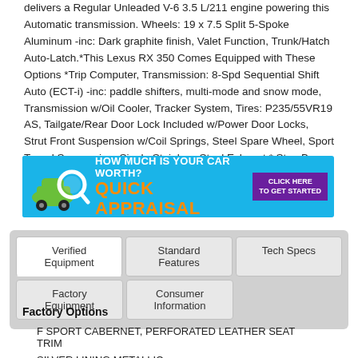delivers a Regular Unleaded V-6 3.5 L/211 engine powering this Automatic transmission. Wheels: 19 x 7.5 Split 5-Spoke Aluminum -inc: Dark graphite finish, Valet Function, Trunk/Hatch Auto-Latch.*This Lexus RX 350 Comes Equipped with These Options *Trip Computer, Transmission: 8-Spd Sequential Shift Auto (ECT-i) -inc: paddle shifters, multi-mode and snow mode, Transmission w/Oil Cooler, Tracker System, Tires: P235/55VR19 AS, Tailgate/Rear Door Lock Included w/Power Door Locks, Strut Front Suspension w/Coil Springs, Steel Spare Wheel, Sport Tuned Suspension, Single Stainless Steel Exhaust.* Stop By Today *Come in for a quick visit at Joshua Motor Car Company, 3429 Haddonfield Road, Pennsauken, NJ 08109 to
[Figure (other): Advertisement banner: HOW MUCH IS YOUR CAR WORTH? QUICK APPRAISAL - CLICK HERE TO GET STARTED, with green car and magnifying glass graphic on blue background]
Verified Equipment | Standard Features | Tech Specs | Factory Equipment | Consumer Information
Factory Options
F SPORT CABERNET, PERFORATED LEATHER SEAT TRIM
SILVER LINING METALLIC